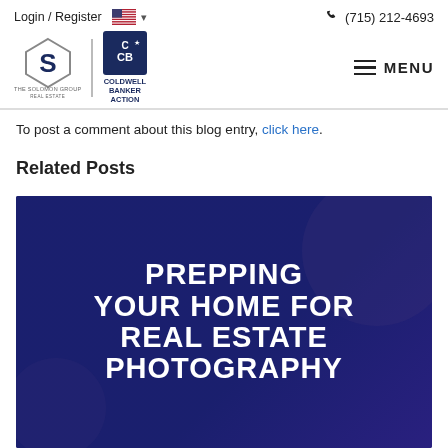Login / Register  (715) 212-4693  MENU
To post a comment about this blog entry, click here.
Related Posts
[Figure (photo): Dark navy blue promotional image with bold white uppercase text reading: PREPPING YOUR HOME FOR REAL ESTATE PHOTOGRAPHY]